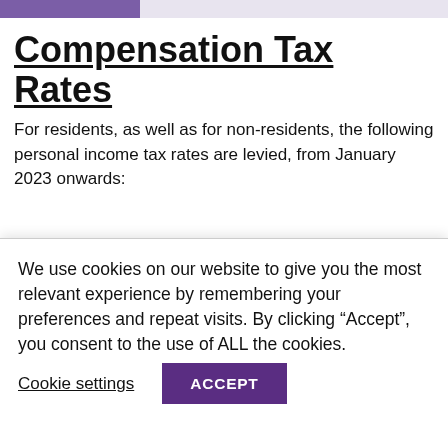Compensation Tax Rates
For residents, as well as for non-residents, the following personal income tax rates are levied, from January 2023 onwards:
For an income between 0 PHP (Philippine Peso) and 250,000 (Philippine Peso): PIT is levied at a rate of 0%.
For an income between 250,000 PHP (Philippine Peso) and 400,000 (Philippine Peso): PIT is levied at a rate of 15%.
For an income between 400,000 PHP (Philippine Peso) and
We use cookies on our website to give you the most relevant experience by remembering your preferences and repeat visits. By clicking “Accept”, you consent to the use of ALL the cookies.
Cookie settings | ACCEPT